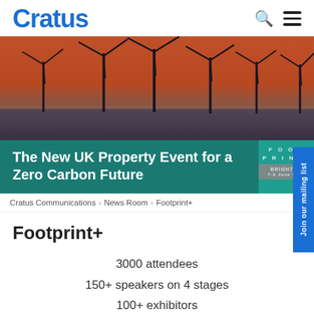Cratus
[Figure (photo): Offshore wind turbines at sunset with orange-red sky and dark water]
The New UK Property Event for a Zero Carbon Future
FOOTPRINT+ BRIGHTON 7-9 June 2022
Cratus Communications > News Room > Footprint+
Footprint+
3000 attendees
150+ speakers on 4 stages
100+ exhibitors
50+ fringe events